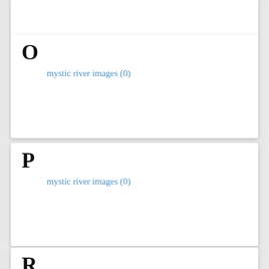O
mystic river images (0)
P
mystic river images (0)
R